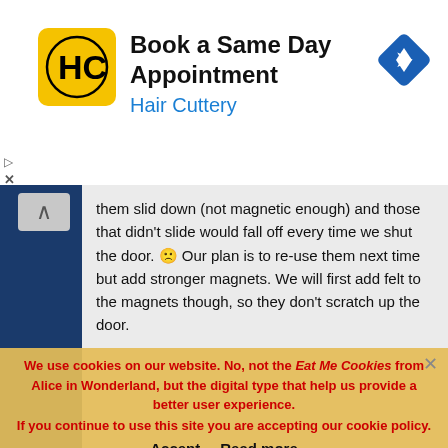[Figure (infographic): Hair Cuttery advertisement banner with logo, text 'Book a Same Day Appointment / Hair Cuttery', and a blue diamond navigation icon]
...them slid down (not magnetic enough) and those that didn't slide would fall off every time we shut the door. 🙁 Our plan is to re-use them next time but add stronger magnets. We will first add felt to the magnets though, so they don't scratch up the door.
Reply ↓
su_A_ve
October 19, 2015 at 6:46 pm
FYI – Inkjet magnetic paper (Avery or other brands) work nicely on non-concierge staterooms in the Dream and Fantasy, however, they don't work as well in the older ships (Magic and Fantasy)...
We use cookies on our website. No, not the Eat Me Cookies from Alice in Wonderland, but the digital type that help us provide a better user experience.
If you continue to use this site you are accepting our cookie policy.
Accept  Read more